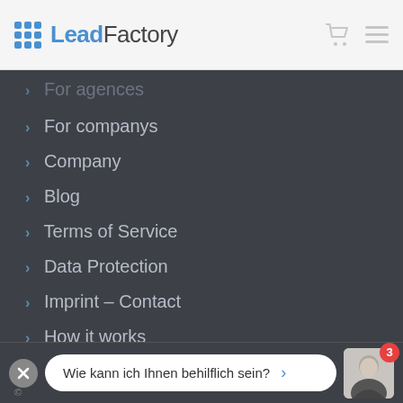LeadFactory
For agences
For companys
Company
Blog
Terms of Service
Data Protection
Imprint – Contact
How it works
Wie kann ich Ihnen behilflich sein?